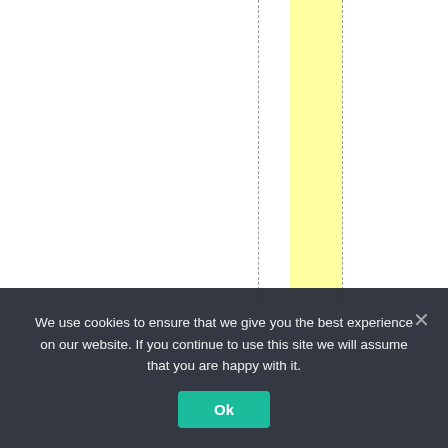[Figure (other): A document page with vertical dashed lines and a yellow highlighted column, with rotated vertical text reading 'n w h i l e , s o m e s o u n d i n f' on the right side.]
We use cookies to ensure that we give you the best experience on our website. If you continue to use this site we will assume that you are happy with it.